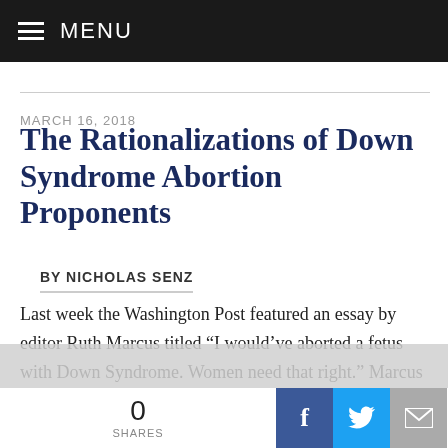MENU
MARCH 16, 2018
The Rationalizations of Down Syndrome Abortion Proponents
BY NICHOLAS SENZ
Last week the Washington Post featured an essay by editor Ruth Marcus titled “I would’ve aborted a fetus with Down Syndrome. Women need that right.” Marcus takes exception to the recent spate of state laws outlawing abortions chosen specifically to end the lives of children
0
SHARES